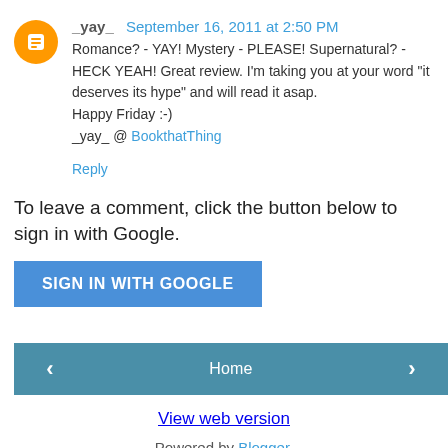_yay_  September 16, 2011 at 2:50 PM
Romance? - YAY! Mystery - PLEASE! Supernatural? - HECK YEAH! Great review. I'm taking you at your word "it deserves its hype" and will read it asap.
Happy Friday :-)
_yay_ @ BookthatThing
Reply
To leave a comment, click the button below to sign in with Google.
SIGN IN WITH GOOGLE
< Home >
View web version
Powered by Blogger.